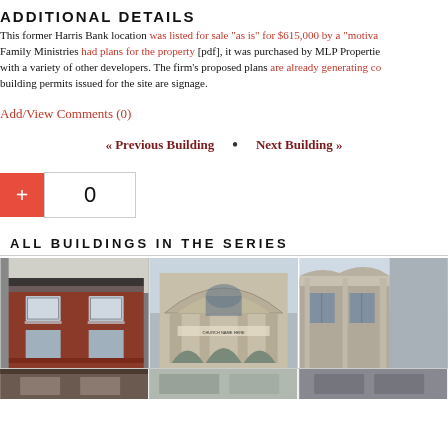ADDITIONAL DETAILS
This former Harris Bank location was listed for sale "as is" for $615,000 by a "motiva... Family Ministries had plans for the property [pdf], it was purchased by MLP Properties with a variety of other developers. The firm's proposed plans are already generating co... building permits issued for the site are signage.
Add/View Comments (0)
« Previous Building  •  Next Building »
[Figure (other): Plus button and count box showing 0]
ALL BUILDINGS IN THE SERIES
[Figure (photo): Three building photos in a horizontal strip: red brick building facade, stone church with arched entrance, partial view of another building]
[Figure (photo): Bottom strip of additional building photos]